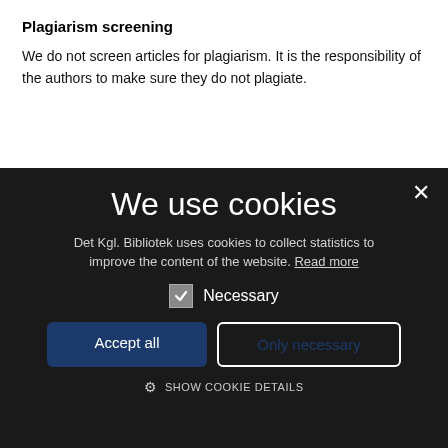Plagiarism screening
We do not screen articles for plagiarism. It is the responsibility of the authors to make sure they do not plagiate.
[Figure (screenshot): Cookie consent modal overlay with dark background. Title 'We use cookies', description text about Det Kgl. Bibliotek, a checked Necessary checkbox, Accept all and Only necessary buttons, and SHOW COOKIE DETAILS link.]